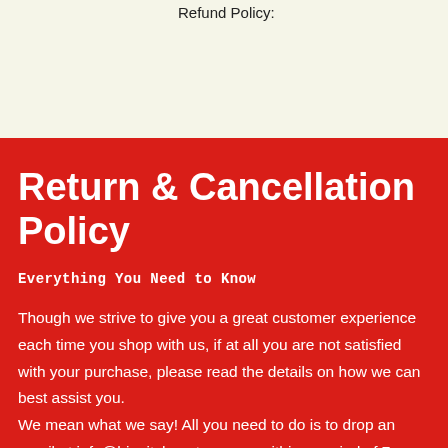Refund Policy:
Return & Cancellation Policy
Everything You Need to Know
Though we strive to give you a great customer experience each time you shop with us, if at all you are not satisfied with your purchase, please read the details on how we can best assist you.
We mean what we say! All you need to do is to drop an email at info@hippityhopstore.com within a period of 7 days, from the date of order. However, you must understand that we